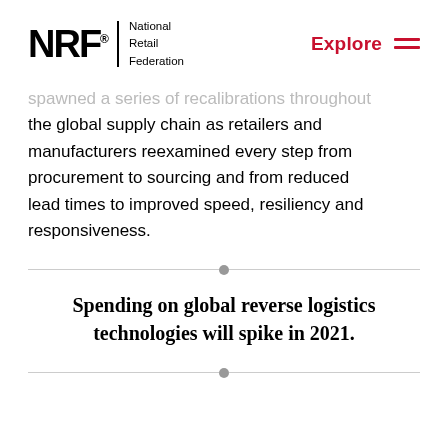NRF National Retail Federation | Explore
spawned a series of recalibrations throughout the global supply chain as retailers and manufacturers reexamined every step from procurement to sourcing and from reduced lead times to improved speed, resiliency and responsiveness.
Spending on global reverse logistics technologies will spike in 2021.